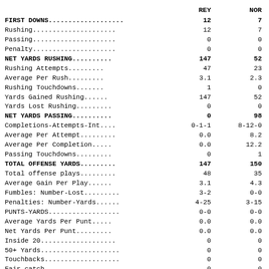|  | REY | NOR |
| --- | --- | --- |
| FIRST DOWNS................... | 12 | 7 |
|    Rushing................... | 12 | 7 |
|    Passing................... | 0 | 0 |
|    Penalty................... | 0 | 0 |
| NET YARDS RUSHING............ | 147 | 52 |
|    Rushing Attempts.......... | 47 | 23 |
|    Average Per Rush.......... | 3.1 | 2.3 |
|    Rushing Touchdowns........ | 1 | 0 |
|    Yards Gained Rushing...... | 147 | 52 |
|    Yards Lost Rushing........ | 0 | 0 |
| NET YARDS PASSING............ | 0 | 98 |
|    Completions-Attempts-Int.. | 0-1-1 | 8-12-0 |
|    Average Per Attempt....... | 0.0 | 8.2 |
|    Average Per Completion.... | 0.0 | 12.2 |
|    Passing Touchdowns........ | 0 | 1 |
| TOTAL OFFENSE YARDS.......... | 147 | 150 |
|    Total offense plays....... | 48 | 35 |
|    Average Gain Per Play..... | 3.1 | 4.3 |
| Fumbles: Number-Lost......... | 3-2 | 0-0 |
| Penalties: Number-Yards...... | 4-25 | 3-15 |
| PUNTS-YARDS.................. | 0-0 | 0-0 |
|    Average Yards Per Punt.... | 0.0 | 0.0 |
|    Net Yards Per Punt........ | 0.0 | 0.0 |
|    Inside 20................. | 0 | 0 |
|    50+ Yards................. | 0 | 0 |
|    Touchbacks................ | 0 | 0 |
|    Fair catch................ | 0 | 0 |
| KICKOFFS YARDS............... | 0-0 | 0-0 |